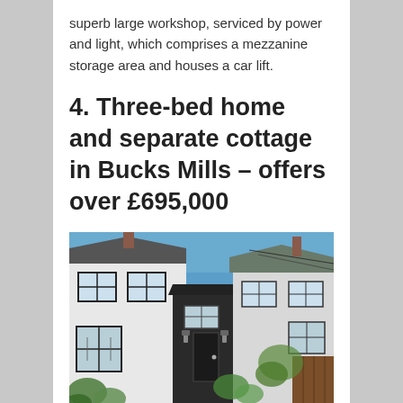superb large workshop, serviced by power and light, which comprises a mezzanine storage area and houses a car lift.
4. Three-bed home and separate cottage in Bucks Mills – offers over £695,000
[Figure (photo): Exterior photo of white-painted cottage with dark timber-framed windows, a black-painted lean-to extension with a door, surrounded by greenery and another cottage visible to the right, under a clear blue sky.]